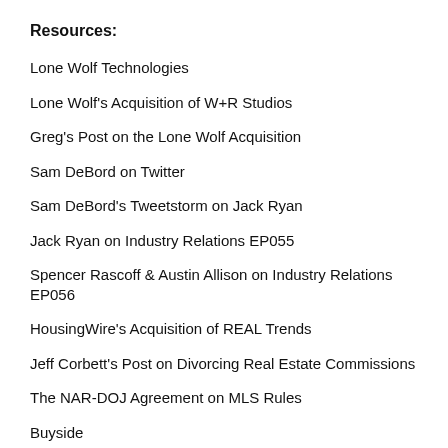Resources:
Lone Wolf Technologies
Lone Wolf's Acquisition of W+R Studios
Greg's Post on the Lone Wolf Acquisition
Sam DeBord on Twitter
Sam DeBord's Tweetstorm on Jack Ryan
Jack Ryan on Industry Relations EP055
Spencer Rascoff & Austin Allison on Industry Relations EP056
HousingWire's Acquisition of REAL Trends
Jeff Corbett's Post on Divorcing Real Estate Commissions
The NAR-DOJ Agreement on MLS Rules
Buyside
Biden's Proposed First-Time Home Buyer Tax Credit